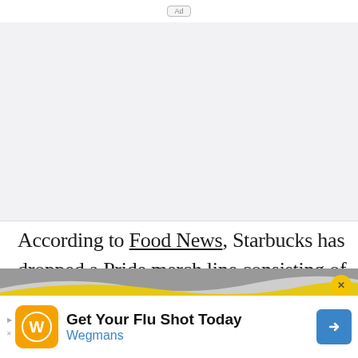Ad
[Figure (other): Gray advertisement placeholder area]
According to Food News, Starbucks has dropped a Pride merch line consisting of colour-changing cups and tumblers. Here’s what we know.
[Figure (other): Advertisement banner: Get Your Flu Shot Today - Wegmans, with orange logo and blue navigation arrow icon, yellow wave graphic, close button]